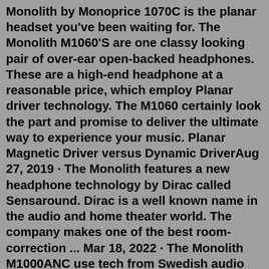Monolith by Monoprice 1070C is the planar headset you've been waiting for. The Monolith M1060'S are one classy looking pair of over-ear open-backed headphones. These are a high-end headphone at a reasonable price, which employ Planar driver technology. The M1060 certainly look the part and promise to deliver the ultimate way to experience your music. Planar Magnetic Driver versus Dynamic DriverAug 27, 2019 · The Monolith features a new headphone technology by Dirac called Sensaround. Dirac is a well known name in the audio and home theater world. The company makes one of the best room-correction ... Mar 18, 2022 · The Monolith M1000ANC use tech from Swedish audio firm Dirac (opens in new tab) (who also partner with Klipsch, Arcam, Onkyo and Pioneer, among others). Called Dirac Virtuo, it promises to enhance the listening experience "by expanding the soundstage far beyond the physical limitations of the headphones, allowing listeners to hear their music ... The Monolith M565C